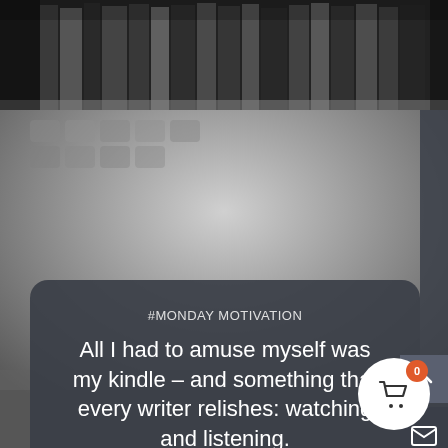[Figure (photo): Grayscale photo of books on a shelf at the top, and a blurred keyboard below]
#MONDAY MOTIVATION
All I had to amuse myself was my kindle – and something that every writer relishes: watching and listening.
- Richard Beynon